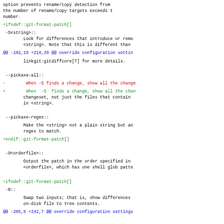option prevents rename/copy detection from...
the number of rename/copy targets exceeds t...
number.
+ifndef::git-format-patch[]
-S<string>::
        Look for differences that introduce or remo...
        <string>. Note that this is different than
@@ -182,18 +218,20 @@ override configuration settin...
linkgit:gitdiffcore[7] for more details.
--pickaxe-all::
-        When -S finds a change, show all the change...
+        When `-S` finds a change, show all the chan...
        changeset, not just the files that contain...
        in <string>.
--pickaxe-regex::
Make the <string> not a plain string but an...
        regex to match.
+endif::git-format-patch[]
-O<orderfile>::
Output the patch in the order specified in...
        <orderfile>, which has one shell glob patte...
+ifndef::git-format-patch[]
-R::
Swap two inputs; that is, show differences...
        on-disk file to tree contents.
@@ -205,6 +242,7 @@ override configuration settings...